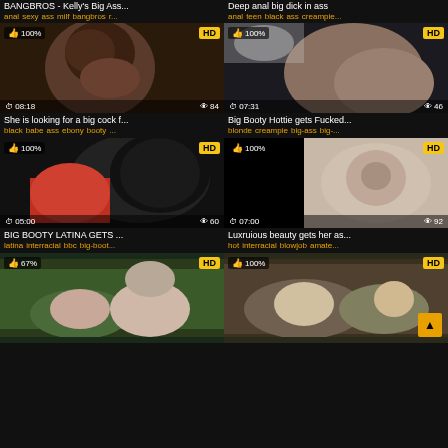BANGBROS - Kelly's Big Ass...
anal sexy ass milf bangbros r...
Deep anal big dick in ass
anal teen black ass creampie...
[Figure (photo): Video thumbnail with 100% rating, HD badge, 08:18 duration, 84 views]
She is looking for a big cock f...
black babe ass ebony booty ...
[Figure (photo): Video thumbnail with 100% rating, HD badge, 07:31 duration, 46 views]
Big Booty Hottie gets Fucked...
blonde creampie big-ass big-...
[Figure (photo): Video thumbnail with 100% rating, HD badge, 05:00 duration, 60 views]
BIG BOOTY LATINA GETS ...
latina interracial bbc big-boot...
[Figure (photo): Video thumbnail with 100% rating, HD badge, 07:00 duration, 92 views]
Luxruious beauty gets her as...
hot interracial blowjob amate...
[Figure (photo): Video thumbnail with 67% rating, HD badge - outdoor scene]
[Figure (photo): Video thumbnail with 100% rating, HD badge - outdoor scene]